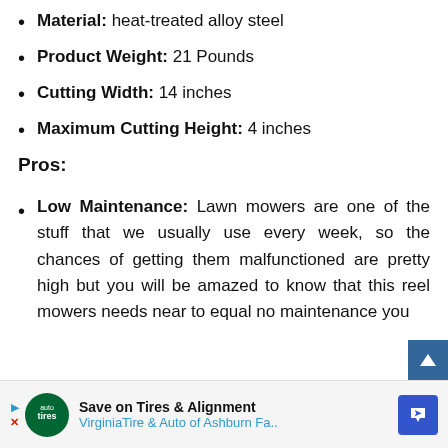Material: heat-treated alloy steel
Product Weight: 21 Pounds
Cutting Width: 14 inches
Maximum Cutting Height: 4 inches
Pros:
Low Maintenance: Lawn mowers are one of the stuff that we usually use every week, so the chances of getting them malfunctioned are pretty high but you will be amazed to know that this reel mowers needs near to equal no maintenance you
[Figure (other): Advertisement banner for Virginia Tire & Auto of Ashburn with Save on Tires & Alignment text]